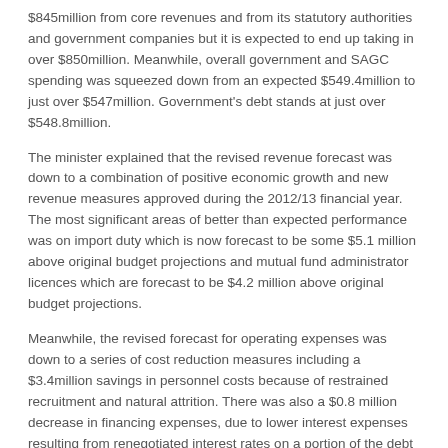$845million from core revenues and from its statutory authorities and government companies but it is expected to end up taking in over $850million. Meanwhile, overall government and SAGC spending was squeezed down from an expected $549.4million to just over $547million. Government's debt stands at just over $548.8million.
The minister explained that the revised revenue forecast was down to a combination of positive economic growth and new revenue measures approved during the 2012/13 financial year. The most significant areas of better than expected performance was on import duty which is now forecast to be some $5.1 million above original budget projections and mutual fund administrator licences which are forecast to be $4.2 million above original budget projections.
Meanwhile, the revised forecast for operating expenses was down to a series of cost reduction measures including a $3.4million savings in personnel costs because of restrained recruitment and natural attrition. There was also a $0.8 million decrease in financing expenses, due to lower interest expenses resulting from renegotiated interest rates on a portion of the debt portfolio and because government stayed out of its overdraft facility, the minister said.
However, he warned the savings were partially offset by a bigger than expected bill for overseas medical care for those who have either exceeded their health insurance cover or who don't have insurance, which is forecast to be $21.2million...